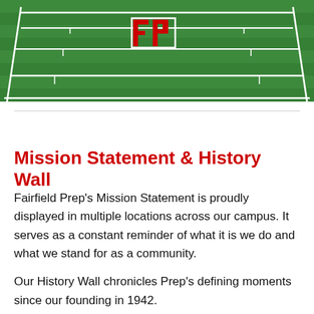[Figure (photo): Aerial view of a green football field with white yard lines and 'FP' logo in red at center, representing Fairfield Prep's athletic field.]
Mission Statement & History Wall
Fairfield Prep's Mission Statement is proudly displayed in multiple locations across our campus. It serves as a constant reminder of what it is we do and what we stand for as a community.
Our History Wall chronicles Prep's defining moments since our founding in 1942.